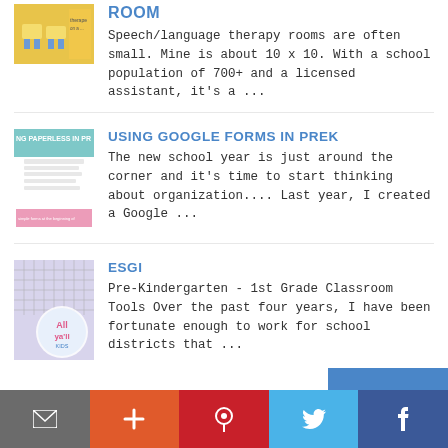ROOM
Speech/language therapy rooms are often small. Mine is about 10 x 10. With a school population of 700+ and a licensed assistant, it's a ...
[Figure (photo): Thumbnail image of a speech therapy room with yellow tables]
USING GOOGLE FORMS IN PREK
The new school year is just around the corner and it's time to start thinking about organization.... Last year, I created a Google ...
[Figure (photo): Thumbnail image related to going paperless in PreK]
ESGI
Pre-Kindergarten - 1st Grade Classroom Tools Over the past four years, I have been fortunate enough to work for school districts that ...
[Figure (photo): Thumbnail image of ESGI data tracking chart]